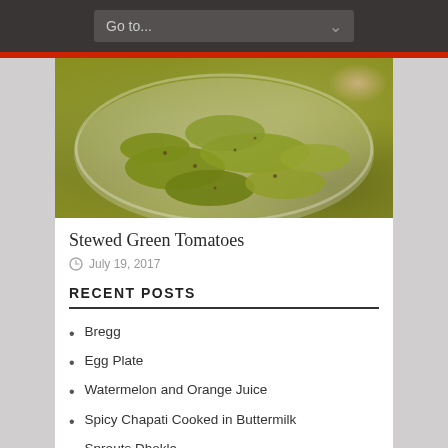Go to...
[Figure (photo): A white bowl containing stewed green tomatoes with spices, on a pink background]
Stewed Green Tomatoes
July 19, 2017
RECENT POSTS
Bregg
Egg Plate
Watermelon and Orange Juice
Spicy Chapati Cooked in Buttermilk
Sprouts Dhokla
Moong Dal and Spinach Idli